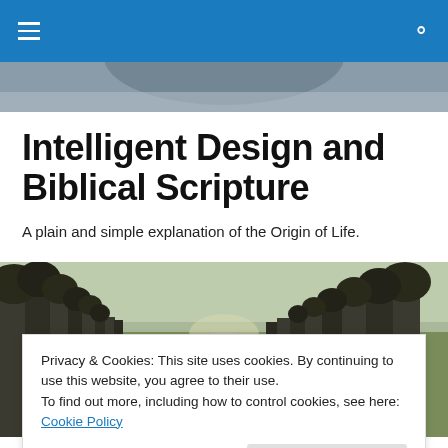Navigation bar with hamburger menu and search icon
[Figure (photo): Grayscale photo strip showing a partial face/head at the top of the page beneath the blue nav bar]
Intelligent Design and Biblical Scripture
A plain and simple explanation of the Origin of Life.
[Figure (photo): A tree-lined country path/avenue with green grass and a wooden fence on the left, perspective view toward the horizon]
Privacy & Cookies: This site uses cookies. By continuing to use this website, you agree to their use.
To find out more, including how to control cookies, see here: Cookie Policy
Close and accept